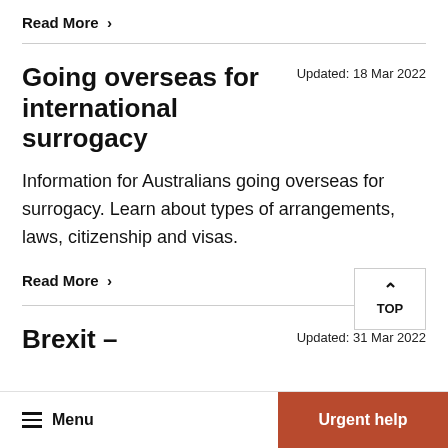Read More  >
Going overseas for international surrogacy  Updated: 18 Mar 2022
Information for Australians going overseas for surrogacy. Learn about types of arrangements, laws, citizenship and visas.
Read More  >
Brexit –  Updated: 31 Mar 2022
Menu  Urgent help